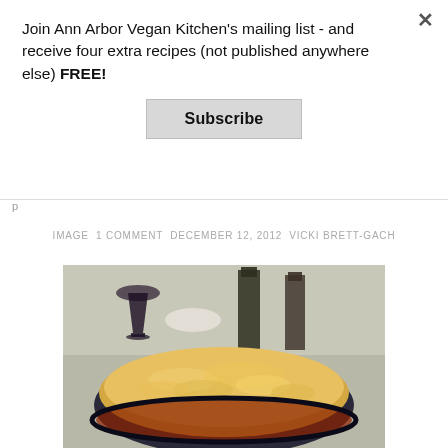Join Ann Arbor Vegan Kitchen's mailing list - and receive four extra recipes (not published anywhere else) FREE!
Subscribe
IMAGE 1 COMMENT DECEMBER 12, 2012 VICKI BRETT-GACH
[Figure (photo): A casserole dish with a mashed potato topped shepherd's pie with golden crust, a glass of red wine and wine bottles in the background.]